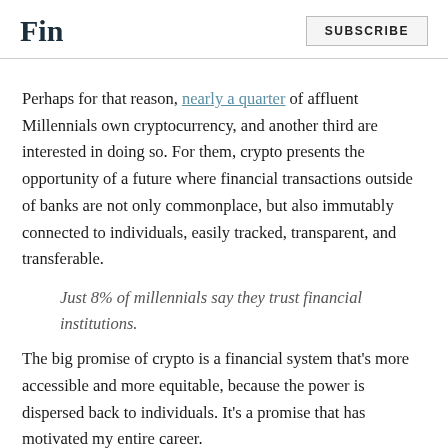Fin | SUBSCRIBE
Perhaps for that reason, nearly a quarter of affluent Millennials own cryptocurrency, and another third are interested in doing so. For them, crypto presents the opportunity of a future where financial transactions outside of banks are not only commonplace, but also immutably connected to individuals, easily tracked, transparent, and transferable.
Just 8% of millennials say they trust financial institutions.
The big promise of crypto is a financial system that’s more accessible and more equitable, because the power is dispersed back to individuals. It’s a promise that has motivated my entire career.
I remember a time when I was twelve years old, shortly after my parents’ divorce was finalized. I came home from school and found my mom crying on the floor of her closet. I asked, what’s the matter? She replied that she worried she wouldn’t be able to